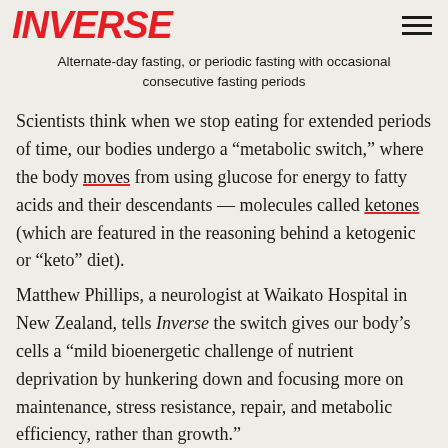INVERSE
Alternate-day fasting, or periodic fasting with occasional consecutive fasting periods
Scientists think when we stop eating for extended periods of time, our bodies undergo a “metabolic switch,” where the body moves from using glucose for energy to fatty acids and their descendants — molecules called ketones (which are featured in the reasoning behind a ketogenic or “keto” diet).
Matthew Phillips, a neurologist at Waikato Hospital in New Zealand, tells Inverse the switch gives our body’s cells a “mild bioenergetic challenge of nutrient deprivation by hunkering down and focusing more on maintenance, stress resistance, repair, and metabolic efficiency, rather than growth.”